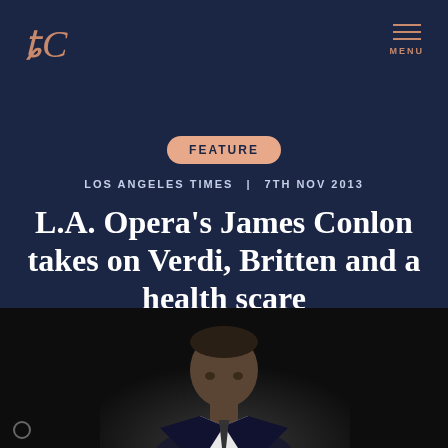JC logo | MENU
FEATURE
LOS ANGELES TIMES | 7TH NOV 2013
L.A. Opera's James Conlon takes on Verdi, Britten and a health scare
David Ng
[Figure (photo): Photo of a person (likely James Conlon) against a dark background]